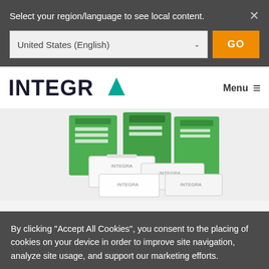Select your region/language to see local content.
United States (English)
GO
[Figure (logo): INTEGRA logo with teal A lettermark]
Menu ≡
[Figure (photo): Integra product boxes — green packaging and white product boxes arranged together]
By clicking "Accept All Cookies", you consent to the placing of cookies on your device in order to improve site navigation, analyze site usage, and support our marketing efforts.